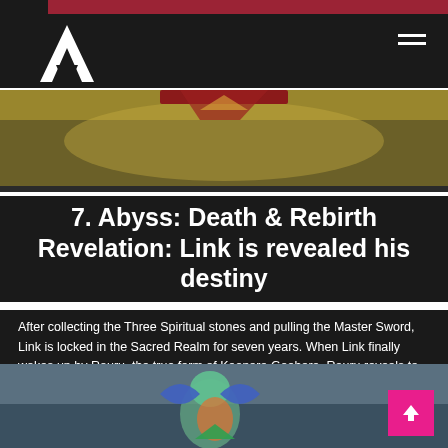[Figure (photo): Top hero image showing a golden/yellow stylized scene from Ocarina of Time]
7. Abyss: Death & Rebirth Revelation: Link is revealed his destiny
After collecting the Three Spiritual stones and pulling the Master Sword, Link is locked in the Sacred Realm for seven years. When Link finally wakes up by Rauru, the true form of Kaepora Gaebora. Rauru reveals to Link that he is a Hylian, and his destiny is to become the Hero of Time and save Hyrule.
[Figure (photo): Bottom image showing animated characters from Ocarina of Time in a temple setting]